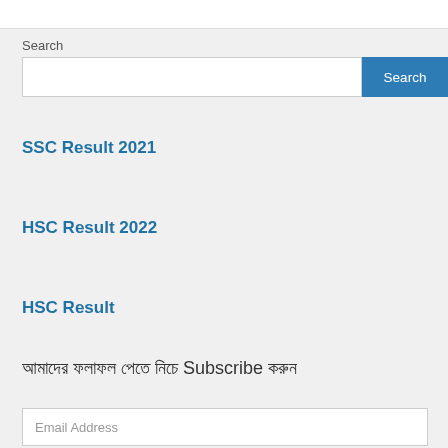Search
SSC Result 2021
HSC Result 2022
HSC Result
আমাদের ফলাফল পেতে নিচে Subscribe করুন
Email Address